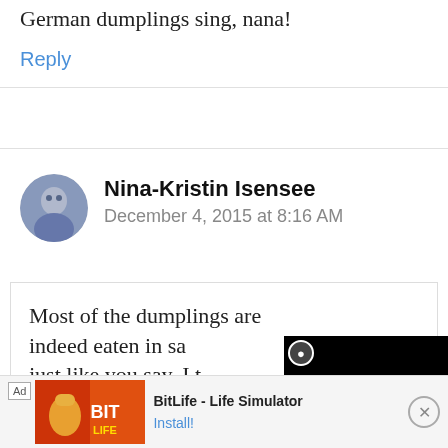German dumplings sing, nana!
Reply
Nina-Kristin Isensee
December 4, 2015 at 8:16 AM
Most of the dumplings are indeed eaten in sa just like you say. I t sweet version is a
[Figure (screenshot): Black video player overlay with close button (circle with X)]
[Figure (screenshot): Ad banner for BitLife - Life Simulator with install button]